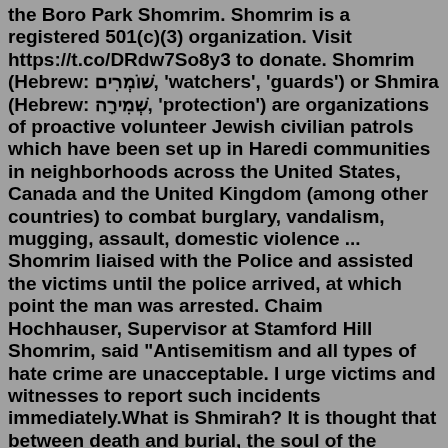the Boro Park Shomrim. Shomrim is a registered 501(c)(3) organization. Visit https://t.co/DRdw7So8y3 to donate. Shomrim (Hebrew: שׁוֹמְרִים, 'watchers', 'guards') or Shmira (Hebrew: שְׁמִירָה, 'protection') are organizations of proactive volunteer Jewish civilian patrols which have been set up in Haredi communities in neighborhoods across the United States, Canada and the United Kingdom (among other countries) to combat burglary, vandalism, mugging, assault, domestic violence ... Shomrim liaised with the Police and assisted the victims until the police arrived, at which point the man was arrested. Chaim Hochhauser, Supervisor at Stamford Hill Shomrim, said "Antisemitism and all types of hate crime are unacceptable. I urge victims and witnesses to report such incidents immediately.What is Shmirah? It is thought that between death and burial, the soul of the deceased is present, hovering near the body, perhaps traveling back and forth between the body and the home in which it lived, aware of what is going on, but confused as to where it